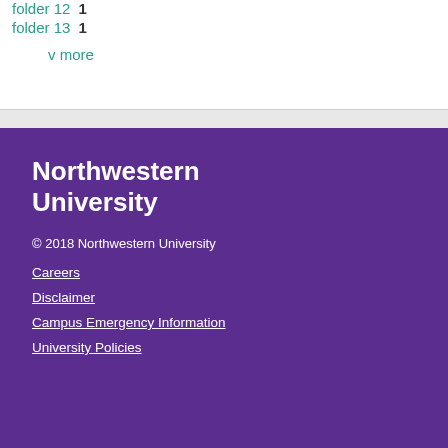folder 12  1
folder 13  1
v more
Northwestern University
© 2018 Northwestern University
Careers
Disclaimer
Campus Emergency Information
University Policies